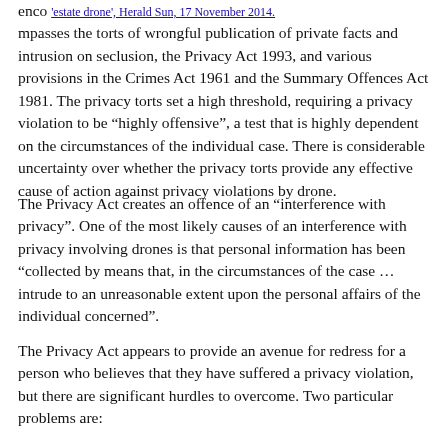enco 'estate drone', Herald Sun, 17 November 2014. mpasses the torts of wrongful publication of private facts and intrusion on seclusion, the Privacy Act 1993, and various provisions in the Crimes Act 1961 and the Summary Offences Act 1981. The privacy torts set a high threshold, requiring a privacy violation to be “highly offensive”, a test that is highly dependent on the circumstances of the individual case. There is considerable uncertainty over whether the privacy torts provide any effective cause of action against privacy violations by drone.
The Privacy Act creates an offence of an “interference with privacy”. One of the most likely causes of an interference with privacy involving drones is that personal information has been “collected by means that, in the circumstances of the case … intrude to an unreasonable extent upon the personal affairs of the individual concerned”.
The Privacy Act appears to provide an avenue for redress for a person who believes that they have suffered a privacy violation, but there are significant hurdles to overcome. Two particular problems are: